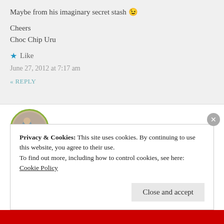Maybe from his imaginary secret stash 😉
Cheers
Choc Chip Uru
★ Like
June 27, 2012 at 7:17 am
« REPLY
[Figure (photo): Circular avatar photo of a person with a dog, bordered with green circle]
Privacy & Cookies: This site uses cookies. By continuing to use this website, you agree to their use.
To find out more, including how to control cookies, see here:
Cookie Policy
Close and accept